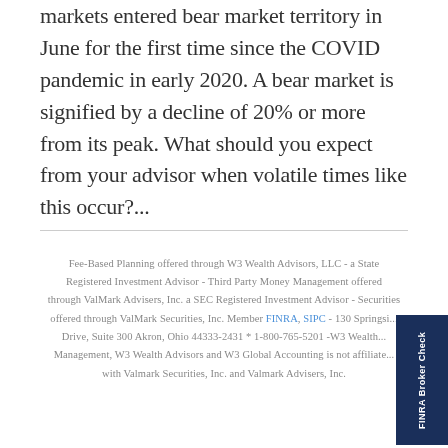markets entered bear market territory in June for the first time since the COVID pandemic in early 2020. A bear market is signified by a decline of 20% or more from its peak. What should you expect from your advisor when volatile times like this occur?...
Fee-Based Planning offered through W3 Wealth Advisors, LLC - a State Registered Investment Advisor - Third Party Money Management offered through ValMark Advisers, Inc. a SEC Registered Investment Advisor - Securities offered through ValMark Securities, Inc. Member FINRA, SIPC - 130 Springside Drive, Suite 300 Akron, Ohio 44333-2431 * 1-800-765-5201 -W3 Wealth Management, W3 Wealth Advisors and W3 Global Accounting is not affiliated with Valmark Securities, Inc. and Valmark Advisers, Inc.